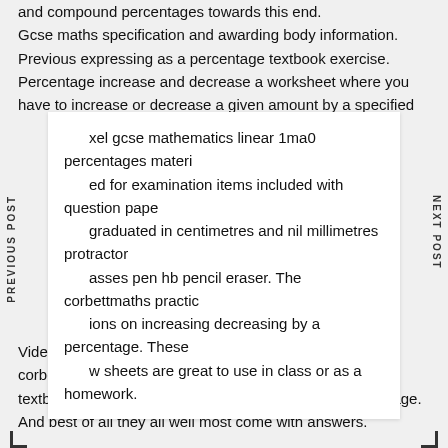and compound percentages towards this end. Gcse maths specification and awarding body information. Previous expressing as a percentage textbook exercise. Percentage increase and decrease a worksheet where you have to increase or decrease a given amount by a specified percentage.
excel gcse mathematics linear 1ma0 percentages material for examination items included with question papers graduated in centimetres and nil millimetres protractor compasses pen hb pencil eraser. The corbettmaths practice questions on increasing decreasing by a percentage. These worksheets are great to use in class or as a homework.
Videos worksheets 5 a day and much more. The corbettmaths textbook exercise on increasing decreasing by a percentage. And best of all they all well most come with answers.